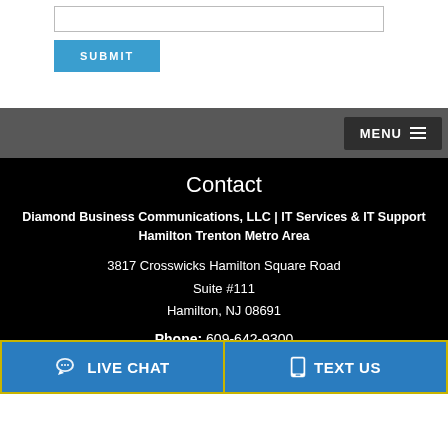[Figure (screenshot): Web form input box (text field) and a blue SUBMIT button]
MENU ☰
Contact
Diamond Business Communications, LLC | IT Services & IT Support Hamilton Trenton Metro Area
3817 Crosswicks Hamilton Square Road
Suite #111
Hamilton, NJ 08691
Phone: 609-642-9300
LIVE CHAT
TEXT US